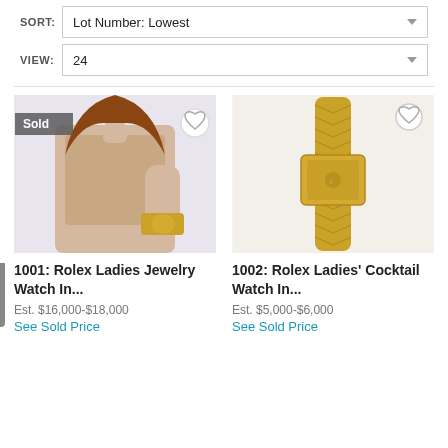SORT: Lot Number: Lowest
VIEW: 24
1001: Rolex Ladies Jewelry Watch In...
Est. $16,000-$18,000
See Sold Price
1002: Rolex Ladies' Cocktail Watch In...
Est. $5,000-$6,000
See Sold Price